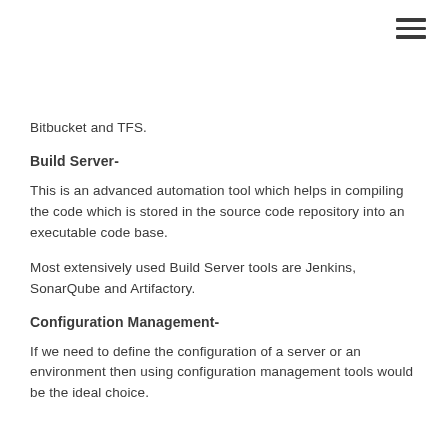[Figure (other): Hamburger menu icon (three horizontal lines) in top-right corner]
Bitbucket and TFS.
Build Server-
This is an advanced automation tool which helps in compiling the code which is stored in the source code repository into an executable code base.
Most extensively used Build Server tools are Jenkins, SonarQube and Artifactory.
Configuration Management-
If we need to define the configuration of a server or an environment then using configuration management tools would be the ideal choice.